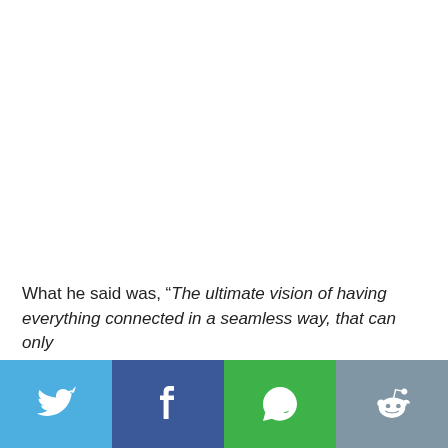What he said was, “The ultimate vision of having everything connected in a seamless way, that can only
[Figure (infographic): Social media sharing bar with four buttons: Twitter (light blue), Facebook (dark blue), WhatsApp (green), Reddit (grey-blue), each with their respective white icon.]